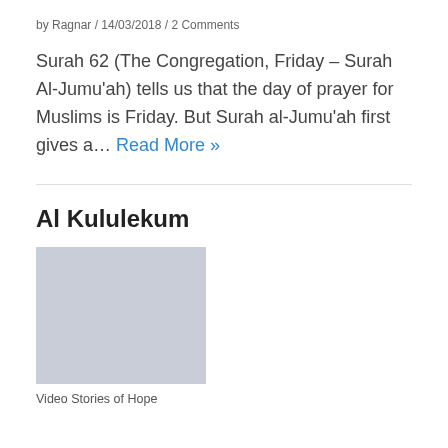by Ragnar / 14/03/2018 / 2 Comments
Surah 62 (The Congregation, Friday – Surah Al-Jumu'ah) tells us that the day of prayer for Muslims is Friday. But Surah al-Jumu'ah first gives a… Read More »
Al Kululekum
[Figure (photo): Placeholder image (light grey rectangle) for Al Kululekum section]
Video Stories of Hope